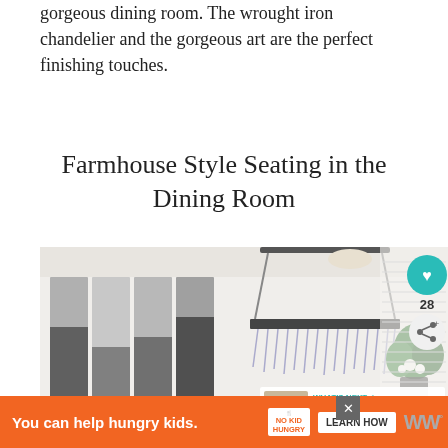gorgeous dining room. The wrought iron chandelier and the gorgeous art are the perfect finishing touches.
Farmhouse Style Seating in the Dining Room
[Figure (photo): Interior dining room photo showing a crystal/modern chandelier hanging from the ceiling, abstract grey wall art panels on the left wall, white tufted chairs around a dining table, and a floral arrangement on the table. Social sharing buttons (heart icon in teal, share icon) on the right side with count 28. A 'What's Next' panel in the bottom right showing '21 Beautiful Entryway...']
You can help hungry kids. NO KID HUNGRY LEARN HOW